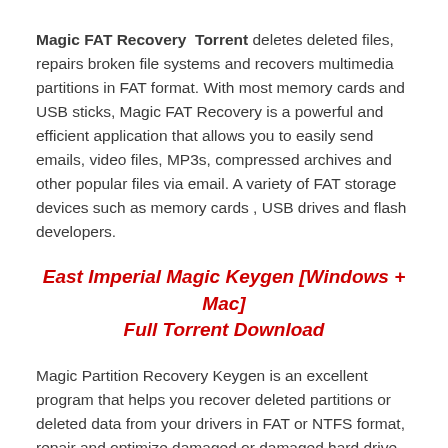Magic FAT Recovery Torrent deletes deleted files, repairs broken file systems and recovers multimedia partitions in FAT format. With most memory cards and USB sticks, Magic FAT Recovery is a powerful and efficient application that allows you to easily send emails, video files, MP3s, compressed archives and other popular files via email. A variety of FAT storage devices such as memory cards , USB drives and flash developers.
East Imperial Magic Keygen [Windows + Mac] Full Torrent Download
Magic Partition Recovery Keygen is an excellent program that helps you recover deleted partitions or deleted data from your drivers in FAT or NTFS format, repair and optimize damaged or damaged hard drive. Data recovery with Magic Partition Recovery does not require very high